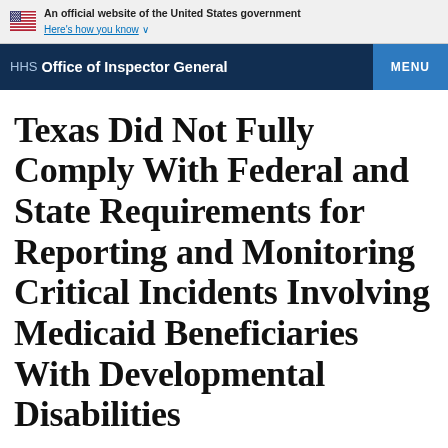An official website of the United States government
Here's how you know ∨
HHS Office of Inspector General | MENU
Texas Did Not Fully Comply With Federal and State Requirements for Reporting and Monitoring Critical Incidents Involving Medicaid Beneficiaries With Developmental Disabilities